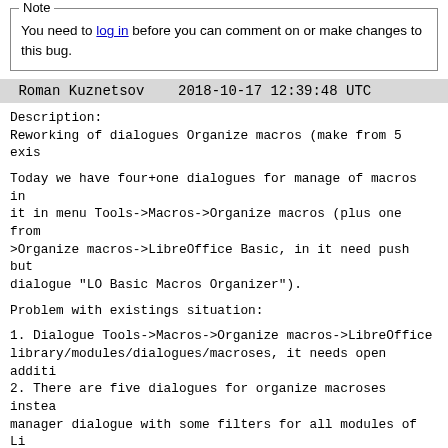Note
You need to log in before you can comment on or make changes to this bug.
Roman Kuznetsov    2018-10-17 12:39:48 UTC
Description:
Reworking of dialogues Organize macros (make from 5 exis
Today we have four+one dialogues for manage of macros in it in menu Tools->Macros->Organize macros (plus one from >Organize macros->LibreOffice Basic, in it need push but dialogue "LO Basic Macros Organizer").
Problem with existings situation:
1. Dialogue Tools->Macros->Organize macros->LibreOffice library/modules/dialogues/macroses, it needs open additi
2. There are five dialogues for organize macroses instea manager dialogue with some filters for all modules of Li
3. Follow from item one: dialogue Tools->Macros->Organiz has different view from dialogues Tools->Macros->Organiz BeanShell, Python)
4. Users don't see in one place all macroses if they wer programming languages.
In my variant I offer make one dialogue (see attach), th library/modules/dialogues/macroses and run/edit/associat for all four supported macros programming languages.